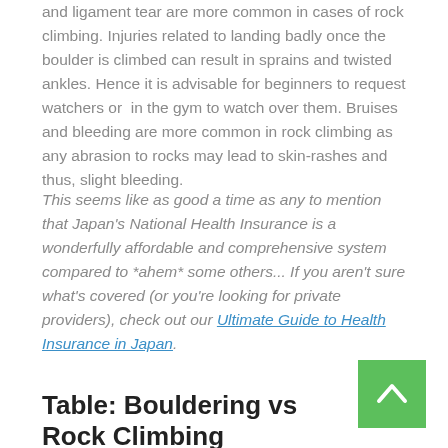and ligament tear are more common in cases of rock climbing. Injuries related to landing badly once the boulder is climbed can result in sprains and twisted ankles. Hence it is advisable for beginners to request watchers or  in the gym to watch over them. Bruises and bleeding are more common in rock climbing as any abrasion to rocks may lead to skin-rashes and thus, slight bleeding.
This seems like as good a time as any to mention that Japan's National Health Insurance is a wonderfully affordable and comprehensive system compared to *ahem* some others... If you aren't sure what's covered (or you're looking for private providers), check out our Ultimate Guide to Health Insurance in Japan.
Table: Bouldering vs Rock Climbing
[Figure (other): Green back-to-top button with upward chevron arrow]